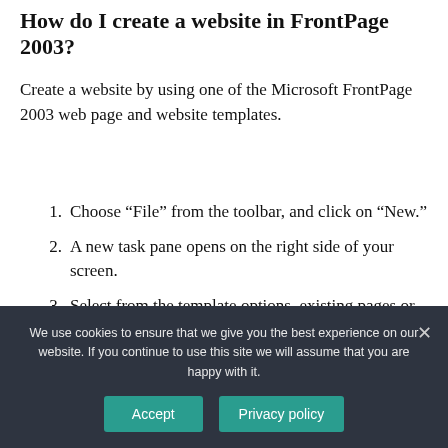How do I create a website in FrontPage 2003?
Create a website by using one of the Microsoft FrontPage 2003 web page and website templates.
Choose “File” from the toolbar, and click on “New.”
A new task pane opens on the right side of your screen.
Select from the template options, existing pages or search for templates online.
We use cookies to ensure that we give you the best experience on our website. If you continue to use this site we will assume that you are happy with it.